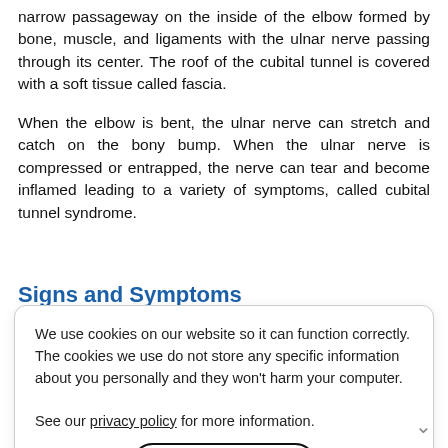narrow passageway on the inside of the elbow formed by bone, muscle, and ligaments with the ulnar nerve passing through its center. The roof of the cubital tunnel is covered with a soft tissue called fascia.
When the elbow is bent, the ulnar nerve can stretch and catch on the bony bump. When the ulnar nerve is compressed or entrapped, the nerve can tear and become inflamed leading to a variety of symptoms, called cubital tunnel syndrome.
Signs and Symptoms
In general, signs and symptoms of Cubital Tunnel Syndrome arise from damage to the ulnar nerve. In general, the patient sees a doctor with signs and symptoms of Cubital Tunnel Syndrome such as loss of sensation and weakness in the hand. Commonly reported symptoms associated with Cubital Tunnel Syndrome include:
Intermittent numbness, tingling, and pain to the little